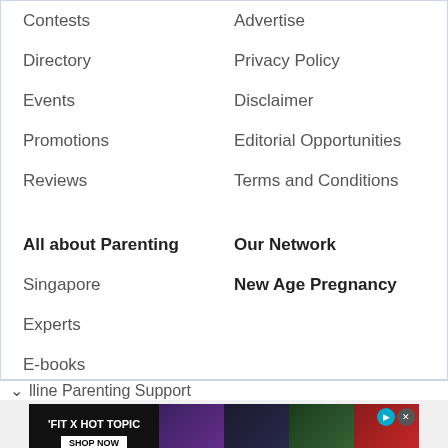Contests
Advertise
Directory
Privacy Policy
Events
Disclaimer
Promotions
Editorial Opportunities
Reviews
Terms and Conditions
All about Parenting
Our Network
Singapore
New Age Pregnancy
Experts
E-books
E-guides
Join Our Mailing List
lline Parenting Support
[Figure (screenshot): Advertisement banner for Fit x Hot Topic with shop now button and photos of people]